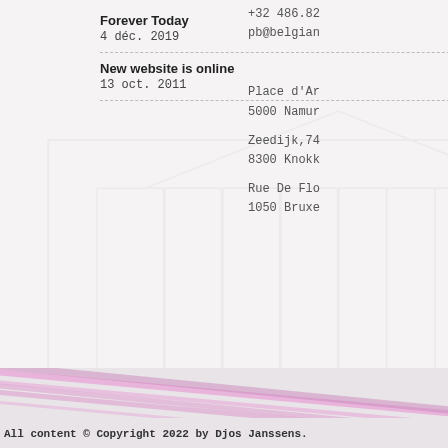Forever Today
4 déc. 2019
+32 486.82
pb@belgian
New website is online
13 oct. 2011
Place d'Ar
5000 Namur
Zeedijk,74
8300 Knoкk
Rue De Flo
1050 Bruxe
All content © Copyright 2022 by Djos Janssens.